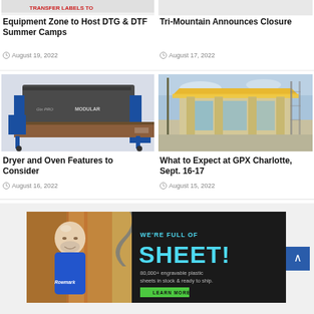[Figure (photo): Partial top image - Equipment Zone article image (cropped at top)]
Equipment Zone to Host DTG & DTF Summer Camps
August 19, 2022
[Figure (photo): Tri-Mountain article image (cropped at top)]
Tri-Mountain Announces Closure
August 17, 2022
[Figure (photo): Industrial dryer/oven machine - blue conveyor belt machine]
Dryer and Oven Features to Consider
August 16, 2022
[Figure (photo): Modern building exterior - GPX Charlotte venue photo]
What to Expect at GPX Charlotte, Sept. 16-17
August 15, 2022
[Figure (photo): Rowmark advertisement - WE'RE FULL OF SHEET! 80,000+ engravable plastic sheets in stock & ready to ship. LEARN MORE]